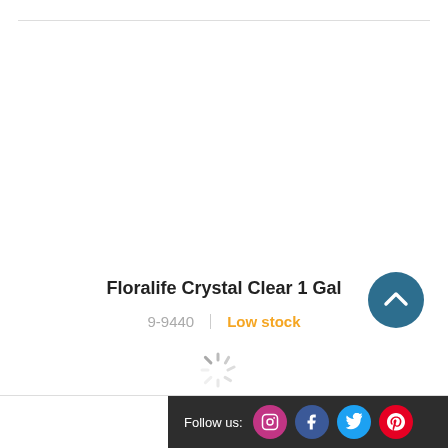Floralife Crystal Clear 1 Gal
9-9440
Low stock
[Figure (illustration): Scroll-to-top button: dark teal circle with white chevron pointing up]
[Figure (illustration): Loading spinner icon at bottom of page]
Follow us:  [Instagram] [Facebook] [Twitter] [Pinterest]